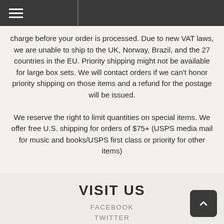charge before your order is processed. Due to new VAT laws, we are unable to ship to the UK, Norway, Brazil, and the 27 countries in the EU. Priority shipping might not be available for large box sets. We will contact orders if we can't honor priority shipping on those items and a refund for the postage will be issued.

We reserve the right to limit quantities on special items. We offer free U.S. shipping for orders of $75+ (USPS media mail for music and books/USPS first class or priority for other items)
VISIT US
FACEBOOK
TWITTER
YOUTUBE
INSTAGRAM
TIKTOK